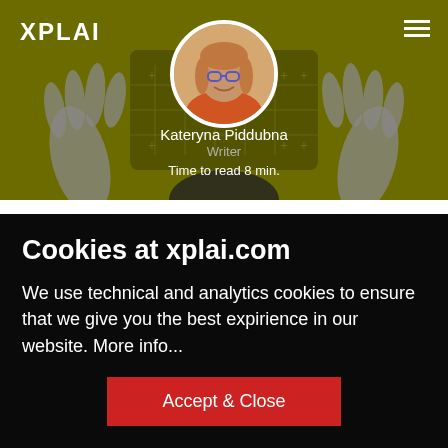[Figure (illustration): Website header with olive/dark yellow-green background, decorative gray hands reaching up around a tablet device, XPLAI logo top-left, hamburger menu icon top-right, circular profile photo of Kateryna Piddubna in center, author name and role below]
Kateryna Piddubna
Writer
Time to read 8 min.
Cookies at xplai.com
We use technical and analytics cookies to ensure that we give you the best expirience in our website. More info...
Accept & Close